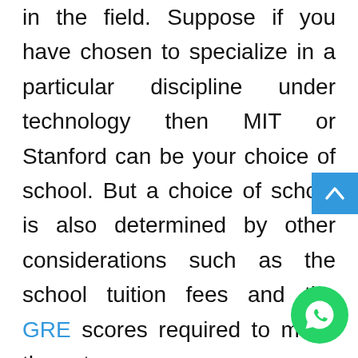in the field. Suppose if you have chosen to specialize in a particular discipline under technology then MIT or Stanford can be your choice of school. But a choice of school is also determined by other considerations such as the school tuition fees and the GRE scores required to make the cut.

The school selection procedure is something that should be done very judiciously. Every single admission procedure costs money in terms of application fee and if the student makes random choices, it might result in